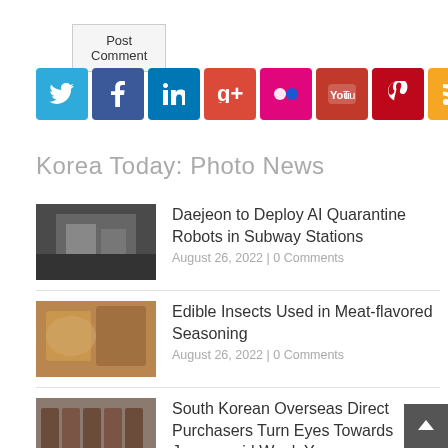Post Comment
[Figure (infographic): Row of 8 social media icon buttons: Twitter (blue), Facebook (dark blue), LinkedIn (blue), Google+ (red), Flickr (pink), YouTube (red), Pinterest (dark red), RSS (orange)]
Korea Today: Photo News
[Figure (photo): Thumbnail photo of subway station with AI quarantine robot]
Daejeon to Deploy AI Quarantine Robots in Subway Stations
August 26, 2022 | 0 Comments
[Figure (photo): Thumbnail photo of edible insects used in meat-flavored seasoning]
Edible Insects Used in Meat-flavored Seasoning
August 26, 2022 | 0 Comments
[Figure (photo): Thumbnail photo of wine bottles for South Korean overseas direct purchase]
South Korean Overseas Direct Purchasers Turn Eyes Towards Japan amid Weak Yen
August 26, 2022 | 0 Comments